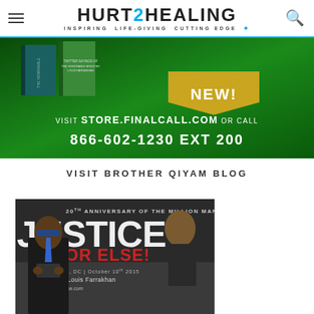HURT2HEALING — INSPIRING. LIFE-GIVING. CUTTING EDGE.
[Figure (photo): Advertisement banner for Final Call store featuring books about The Honorable Minister Louis Farrakhan. Text reads: NEW! VISIT STORE.FINALCALL.COM OR CALL 866-602-1230 EXT 200]
VISIT BROTHER QIYAM BLOG
[Figure (photo): Photo of a man in a black suit with blue sunglasses looking at his phone. Background shows a banner reading '20th Anniversary of the Million Man March — JUSTICE...OR ELSE! Washington DC, October 10th 2015 — The Honorable Minister Louis Farrakhan — JusticeOrElse.com']